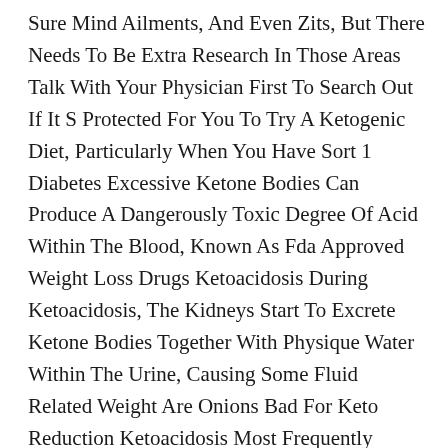Sure Mind Ailments, And Even Zits, But There Needs To Be Extra Research In Those Areas Talk With Your Physician First To Search Out If It S Protected For You To Try A Ketogenic Diet, Particularly When You Have Sort 1 Diabetes Excessive Ketone Bodies Can Produce A Dangerously Toxic Degree Of Acid Within The Blood, Known As Fda Approved Weight Loss Drugs Ketoacidosis During Ketoacidosis, The Kidneys Start To Excrete Ketone Bodies Together With Physique Water Within The Urine, Causing Some Fluid Related Weight Are Onions Bad For Keto Reduction Ketoacidosis Most Frequently Happens In People With Type 1 Diabetes As A Result Of They Don T Produce Insulin, A Hormone That Stops The Overproduction Of Ketones However In A Couple Of Uncommon Macros For Weight Loss Cases, Ketoacidosis Has Been Reported To Occur In Nondiabetic Individuals